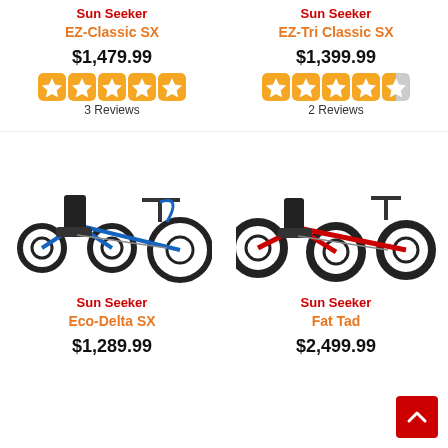Sun Seeker
EZ-Classic SX
$1,479.99
3 Reviews
[Figure (photo): Sun Seeker EZ-Classic SX recumbent trike, blue, 5 full orange stars rating]
Sun Seeker
EZ-Tri Classic SX
$1,399.99
2 Reviews
[Figure (photo): Sun Seeker EZ-Tri Classic SX recumbent trike, 4.5 orange stars rating]
[Figure (photo): Sun Seeker Eco-Delta SX recumbent delta trike, blue frame]
[Figure (photo): Sun Seeker Fat Tad fat-tire trike, red frame]
Sun Seeker
Eco-Delta SX
$1,289.99
Sun Seeker
Fat Tad
$2,499.99